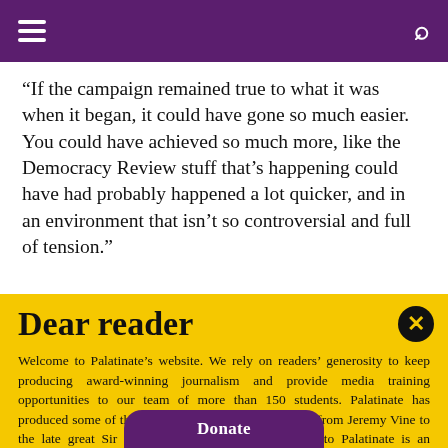Navigation header with hamburger menu and search icon
“If the campaign remained true to what it was when it began, it could have gone so much easier. You could have achieved so much more, like the Democracy Review stuff that’s happening could have had probably happened a lot quicker, and in an environment that isn’t so controversial and full of tension.”
Dear reader
Welcome to Palatinate’s website. We rely on readers’ generosity to keep producing award-winning journalism and provide media training opportunities to our team of more than 150 students. Palatinate has produced some of the biggest names in British media, from Jeremy Vine to the late great Sir Harold Evans. Every contribution to Palatinate is an investment into the future of journalism.
Donate